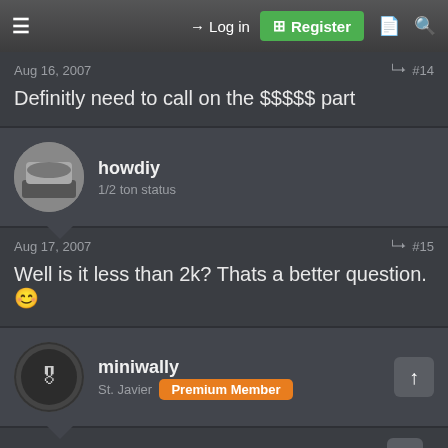Log in | Register
Aug 16, 2007  #14
Definitly need to call on the $$$$$ part
howdiy
1/2 ton status
Aug 17, 2007  #15
Well is it less than 2k? Thats a better question. 🙂
miniwally
St. Javier  Premium Member
Aug 17, 2007  #16
I don't know. Call